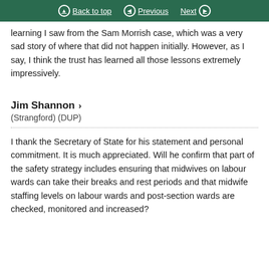Back to top | Previous | Next
learning I saw from the Sam Morrish case, which was a very sad story of where that did not happen initially. However, as I say, I think the trust has learned all those lessons extremely impressively.
Jim Shannon > (Strangford) (DUP)
I thank the Secretary of State for his statement and personal commitment. It is much appreciated. Will he confirm that part of the safety strategy includes ensuring that midwives on labour wards can take their breaks and rest periods and that midwife staffing levels on labour wards and post-section wards are checked, monitored and increased?